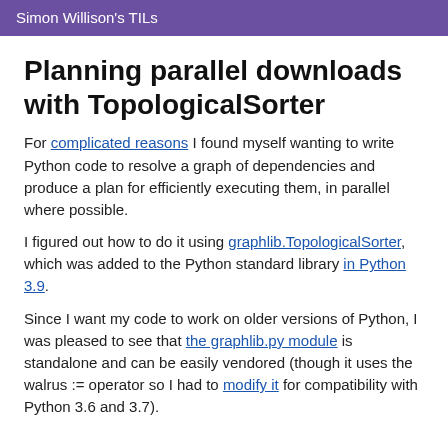Simon Willison's TILs
Planning parallel downloads with TopologicalSorter
For complicated reasons I found myself wanting to write Python code to resolve a graph of dependencies and produce a plan for efficiently executing them, in parallel where possible.
I figured out how to do it using graphlib.TopologicalSorter, which was added to the Python standard library in Python 3.9.
Since I want my code to work on older versions of Python, I was pleased to see that the graphlib.py module is standalone and can be easily vendored (though it uses the walrus := operator so I had to modify it for compatibility with Python 3.6 and 3.7).